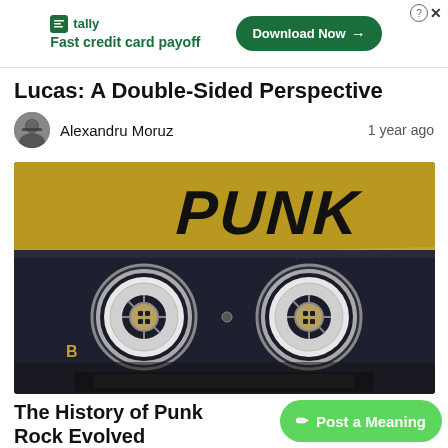[Figure (screenshot): Ad banner for Tally app: 'Fast credit card payoff' with 'Download Now' button and close/help icons]
Lucas: A Double-Sided Perspective
Alexandru Moruz   1 year ago
[Figure (photo): Close-up photo of a dark cassette tape labeled 'PUNK' in graffiti-style lettering on a yellow background, showing the two tape reels, marked 'B' on the left side]
The History of Punk Rock Evolved